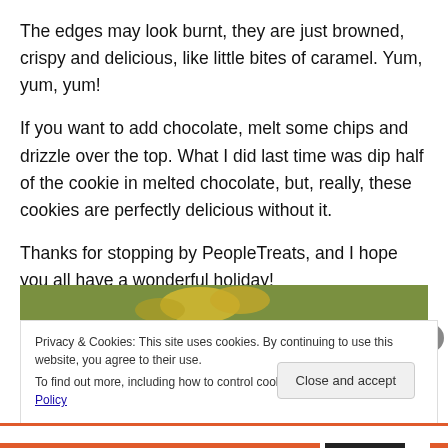The edges may look burnt, they are just browned, crispy and delicious, like little bites of caramel. Yum, yum, yum!
If you want to add chocolate, melt some chips and drizzle over the top. What I did last time was dip half of the cookie in melted chocolate, but, really, these cookies are perfectly delicious without it.
Thanks for stopping by PeopleTreats, and I hope you all have a wonderful holiday!
[Figure (photo): Photo of cookies with yellow flowers visible at top]
Privacy & Cookies: This site uses cookies. By continuing to use this website, you agree to their use.
To find out more, including how to control cookies, see here: Cookie Policy
Close and accept